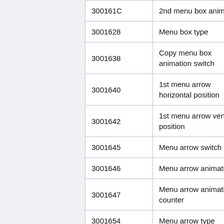| Code | Description |
| --- | --- |
| 300161C | 2nd menu box animation |
| 3001628 | Menu box type |
| 3001638 | Copy menu box animation switch |
| 3001640 | 1st menu arrow horizontal position |
| 3001642 | 1st menu arrow vertical position |
| 3001645 | Menu arrow switch |
| 3001646 | Menu arrow animation |
| 3001647 | Menu arrow animation counter |
| 3001654 | Menu arrow type |
| 3001660 | Menu box animation |
| 3001670 | 1st menu box animation |